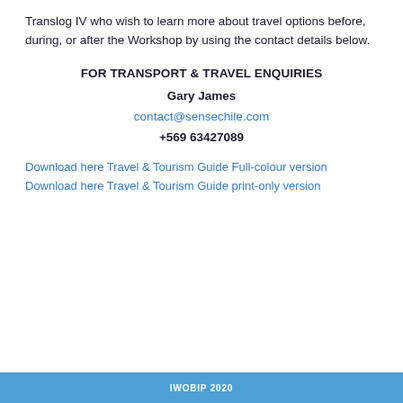Translog IV who wish to learn more about travel options before, during, or after the Workshop by using the contact details below.
FOR TRANSPORT & TRAVEL ENQUIRIES
Gary James
contact@sensechile.com
+569 63427089
Download here Travel & Tourism Guide Full-colour version
Download here Travel & Tourism Guide print-only version
IWOBIP 2020